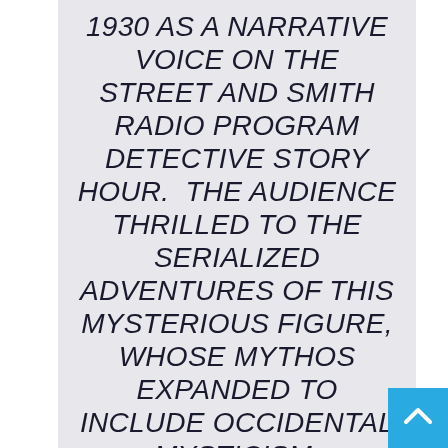1930 AS A NARRATIVE VOICE ON THE STREET AND SMITH RADIO PROGRAM DETECTIVE STORY HOUR.  THE AUDIENCE THRILLED TO THE SERIALIZED ADVENTURES OF THIS MYSTERIOUS FIGURE, WHOSE MYTHOS EXPANDED TO INCLUDE OCCIDENTAL MYSTICISM,